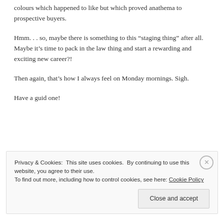colours which happened to like but which proved anathema to prospective buyers.
Hmm. . . so, maybe there is something to this “staging thing” after all.  Maybe it’s time to pack in the law thing and start a rewarding and exciting new career?!
Then again, that’s how I always feel on Monday mornings. Sigh.
Have a guid one!
Privacy & Cookies: This site uses cookies. By continuing to use this website, you agree to their use.
To find out more, including how to control cookies, see here: Cookie Policy